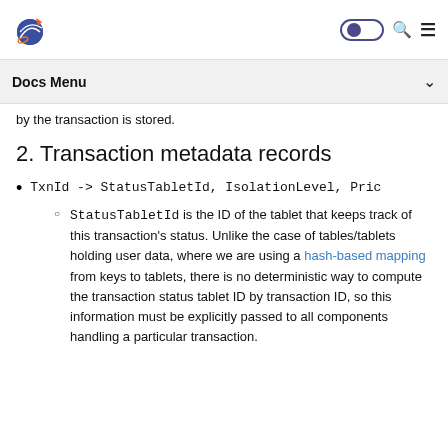Docs Menu
by the transaction is stored.
2. Transaction metadata records
TxnId -> StatusTabletId, IsolationLevel, Pric
StatusTabletId is the ID of the tablet that keeps track of this transaction's status. Unlike the case of tables/tablets holding user data, where we are using a hash-based mapping from keys to tablets, there is no deterministic way to compute the transaction status tablet ID by transaction ID, so this information must be explicitly passed to all components handling a particular transaction.